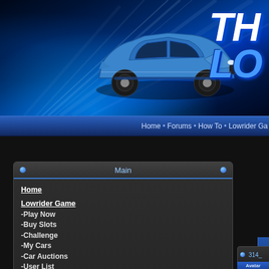[Figure (screenshot): Website header banner with blue car (lowrider) on dark blue background with light rays effect, and partial 'TH LO' logo text visible on right]
Home • Forums • How To • Lowrider Ga
Main
Home
Lowrider Game
-Play Now
-Buy Slots
-Challenge
-My Cars
-Car Auctions
-User List
-Scores
-Champions
-Car Shows
-Tournaments
-Shops
Lowrider Games:
-Monte Carlo
-Expedition
-3D 57 Chevy
-2-Player Game
-Cadillac Hopper
-Cadillac Dancer
-Cutlass Hopper
-Regal Hopper
314_
Avatar
[Figure (other): Small avatar image placeholder labeled 'Avatar']
Contact 314_JUNIOR
E-mail address:
Private Message:
[Figure (other): Small PM button]